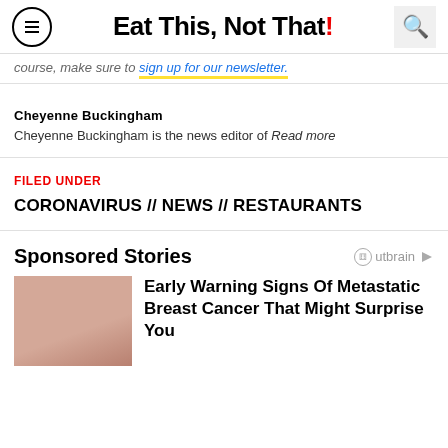Eat This, Not That!
...course, make sure to sign up for our newsletter.
Cheyenne Buckingham
Cheyenne Buckingham is the news editor of Read more
FILED UNDER
CORONAVIRUS // NEWS // RESTAURANTS
Sponsored Stories
Early Warning Signs Of Metastatic Breast Cancer That Might Surprise You